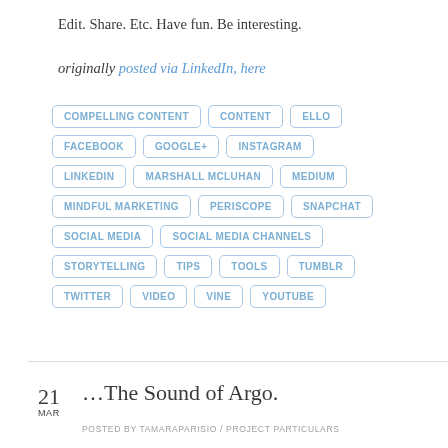Edit. Share. Etc. Have fun. Be interesting.
originally posted via LinkedIn, here
COMPELLING CONTENT
CONTENT
ELLO
FACEBOOK
GOOGLE+
INSTAGRAM
LINKEDIN
MARSHALL MCLUHAN
MEDIUM
MINDFUL MARKETING
PERISCOPE
SNAPCHAT
SOCIAL MEDIA
SOCIAL MEDIA CHANNELS
STORYTELLING
TIPS
TOOLS
TUMBLR
TWITTER
VIDEO
VINE
YOUTUBE
…The Sound of Argo.
POSTED BY TAMARAPARISIO / PROJECT PARTICULARS